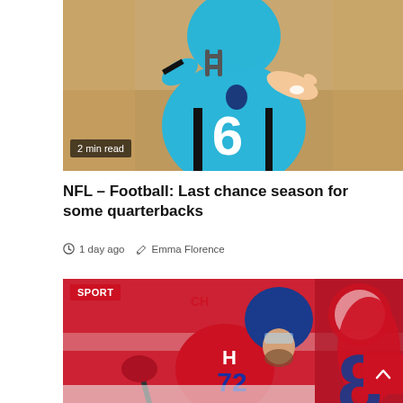[Figure (photo): NFL quarterback wearing Carolina Panthers teal jersey number 6, in throwing motion during a game]
2 min read
NFL – Football: Last chance season for some quarterbacks
1 day ago   Emma Florence
[Figure (photo): Ice hockey player in Montreal Canadiens red jersey number 72 in action, with Detroit Red Wings player visible in background. SPORT badge shown.]